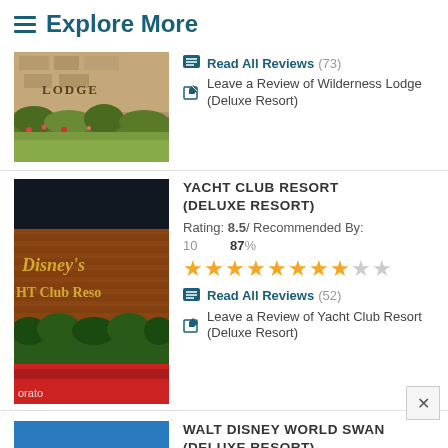Explore More
Read All Reviews (73)
Leave a Review of Wilderness Lodge (Deluxe Resort)
YACHT CLUB RESORT (DELUXE RESORT)
Rating: 8.5 / Recommended By: 10   87%
Read All Reviews (52)
Leave a Review of Yacht Club Resort (Deluxe Resort)
WALT DISNEY WORLD SWAN (DELUXE RESORT)
Rating: 7.2 / Recommended By: 10   71%